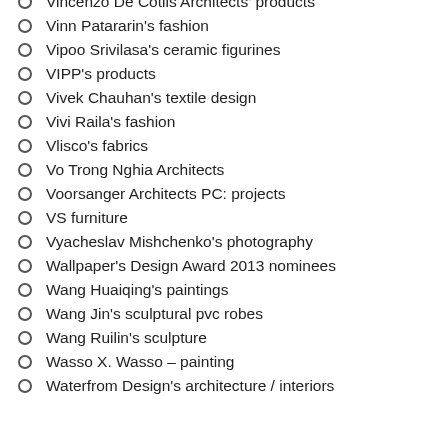Vincenzo De Cotiis Architects' products
Vinn Patararin's fashion
Vipoo Srivilasa's ceramic figurines
VIPP's products
Vivek Chauhan's textile design
Vivi Raila's fashion
Vlisco's fabrics
Vo Trong Nghia Architects
Voorsanger Architects PC: projects
VS furniture
Vyacheslav Mishchenko's photography
Wallpaper's Design Award 2013 nominees
Wang Huaiqing's paintings
Wang Jin's sculptural pvc robes
Wang Ruilin's sculpture
Wasso X. Wasso – painting
Waterfrom Design's architecture / interiors